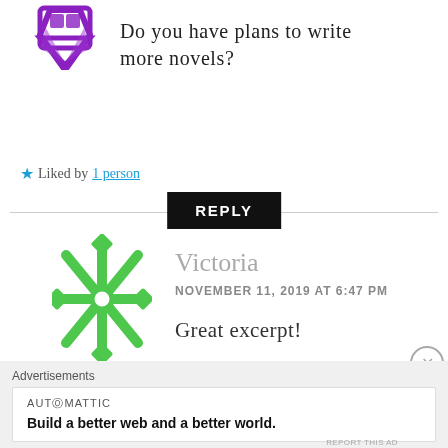[Figure (illustration): Purple geometric avatar icon (partial, top of page)]
Do you have plans to write more novels?
★ Liked by 1 person
REPLY
[Figure (illustration): Green snowflake/asterisk geometric avatar icon for user Victoria]
Victoria
NOVEMBER 11, 2019 AT 6:47 PM
Great excerpt!
★ Liked by 1 person
Advertisements
AUTOMATTIC
Build a better web and a better world.